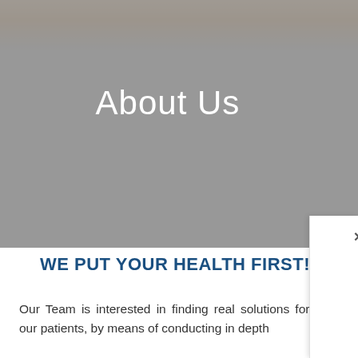[Figure (photo): Hero banner image showing hands, partially visible at top, with gray overlay. Displays 'About Us' text centered over the overlay.]
About Us
WE PUT YOUR HEALTH FIRST!
Our Team is interested in finding real solutions for you, our patients, by means of conducting in depth